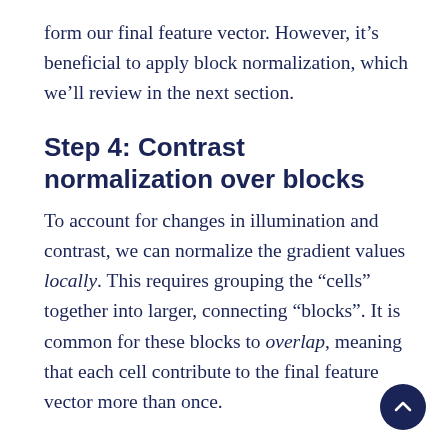form our final feature vector. However, it's beneficial to apply block normalization, which we'll review in the next section.
Step 4: Contrast normalization over blocks
To account for changes in illumination and contrast, we can normalize the gradient values locally. This requires grouping the “cells” together into larger, connecting “blocks”. It is common for these blocks to overlap, meaning that each cell contribute to the final feature vector more than once.